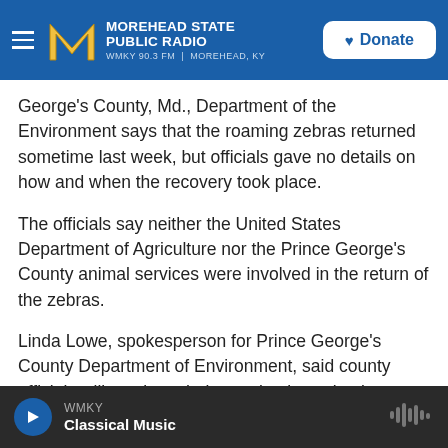Morehead State Public Radio — WMKY 90.3 FM | Morehead, KY
George's County, Md., Department of the Environment says that the roaming zebras returned sometime last week, but officials gave no details on how and when the recovery took place.
The officials say neither the United States Department of Agriculture nor the Prince George's County animal services were involved in the return of the zebras.
Linda Lowe, spokesperson for Prince George's County Department of Environment, said county officials will continue their ongoing investigation
WMKY — Classical Music